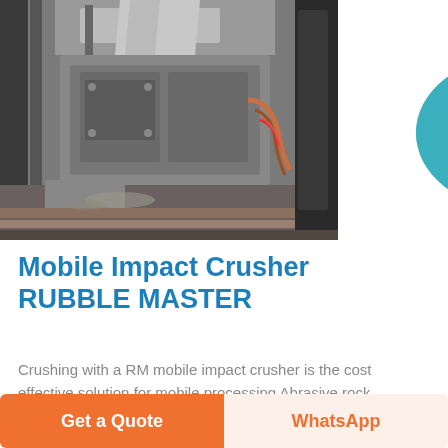[Figure (photo): Photograph of a mobile impact crusher machine (RUBBLE MASTER) showing industrial crushing equipment with heavy steel components, conveyor, and mechanical parts in an outdoor industrial setting.]
[Figure (other): Live Chat button - teal speech bubble with 'LIVE CHAT' text and a dark purple chat icon bubble]
Mobile Impact Crusher RUBBLE MASTER
Crushing with a RM mobile impact crusher is the cost effective solution for mobile processing Abrasive rock middot Hard
Get a Quote
WhatsApp